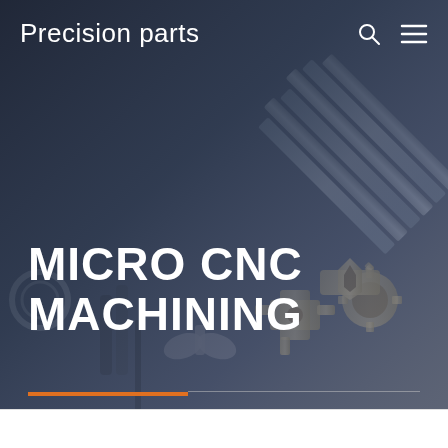[Figure (photo): Dark-toned hero background photo showing various precision-machined metal parts including cylindrical rods, turned brass fittings, drill bits, bearings, and CNC-machined components arranged on a surface, with a blue-gray overlay.]
Precision parts
MICRO CNC MACHINING